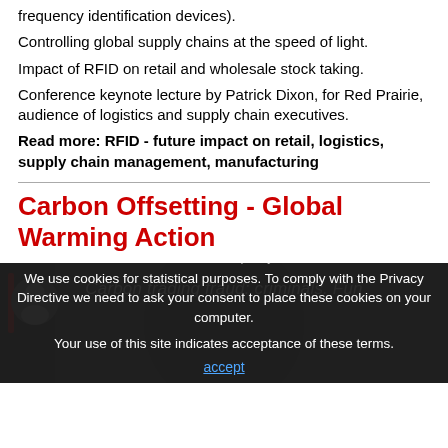frequency identification devices).
Controlling global supply chains at the speed of light.
Impact of RFID on retail and wholesale stock taking.
Conference keynote lecture by Patrick Dixon, for Red Prairie, audience of logistics and supply chain executives.
Read more: RFID - future impact on retail, logistics, supply chain management, manufacturing
Carbon Offsetting - Global Warming Action
[Figure (screenshot): Video thumbnail showing a person with text 'Carbon trading fraud: criminals. Fun' and a YouTube-style play interface]
Our cookie policy
We use cookies for statistical purposes. To comply with the Privacy Directive we need to ask your consent to place these cookies on your computer.
Your use of this site indicates acceptance of these terms.
accept